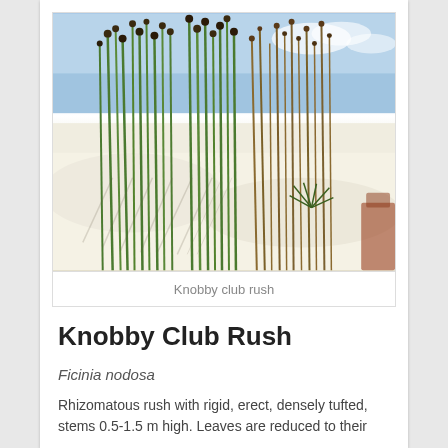[Figure (photo): Photograph of Knobby club rush (Ficinia nodosa) growing in white sand dunes, showing tall green erect stems with dark round seed heads at the tips, against a blue sky background.]
Knobby club rush
Knobby Club Rush
Ficinia nodosa
Rhizomatous rush with rigid, erect, densely tufted, stems 0.5-1.5 m high. Leaves are reduced to their